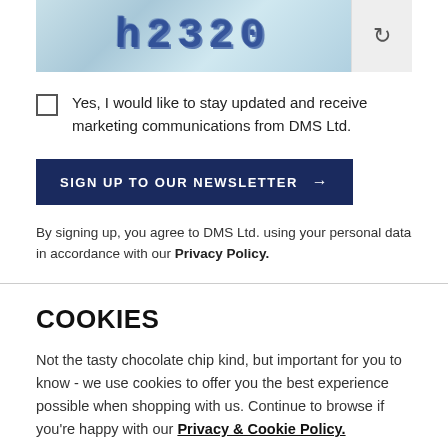[Figure (screenshot): CAPTCHA image showing stylized text 'h2320' in dark blue on a speckled light blue background, with a refresh button on the right]
Yes, I would like to stay updated and receive marketing communications from DMS Ltd.
SIGN UP TO OUR NEWSLETTER →
By signing up, you agree to DMS Ltd. using your personal data in accordance with our Privacy Policy.
COOKIES
Not the tasty chocolate chip kind, but important for you to know - we use cookies to offer you the best experience possible when shopping with us. Continue to browse if you're happy with our Privacy & Cookie Policy.
Continue